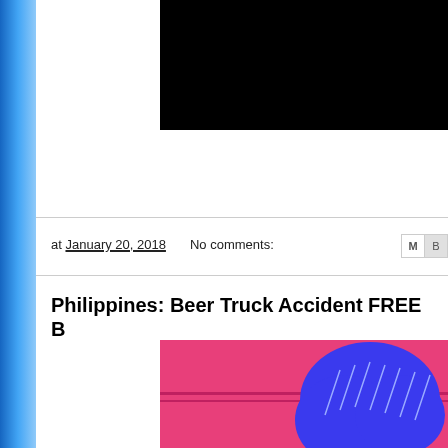[Figure (screenshot): Black background image area at top right of page - appears to be a cropped video or photo screenshot with black content]
at January 20, 2018   No comments:
Philippines: Beer Truck Accident FREE B
[Figure (illustration): Animated illustration with pink/magenta background showing blue cartoon character or cloud shape with rain lines, styled like an anime or cartoon image]